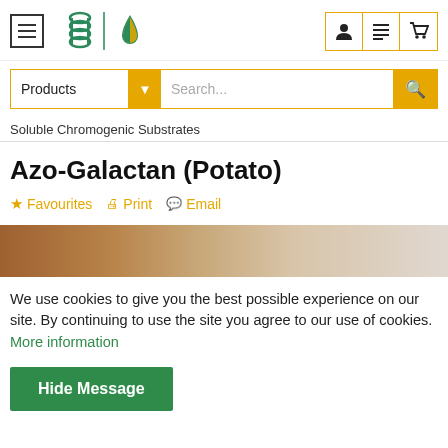[Figure (logo): Megazyme logo with green DNA helix and orange/green drop icons, plus navigation menu button and right-side user/list/cart icon buttons with orange border]
[Figure (screenshot): Search bar with 'Products' dropdown category, Search... placeholder text, and orange search button]
Soluble Chromogenic Substrates
Azo-Galactan (Potato)
Favourites  Print  Email
[Figure (photo): Partial product image showing brown/tan colored product against gray background]
We use cookies to give you the best possible experience on our site. By continuing to use the site you agree to our use of cookies. More information
Hide Message